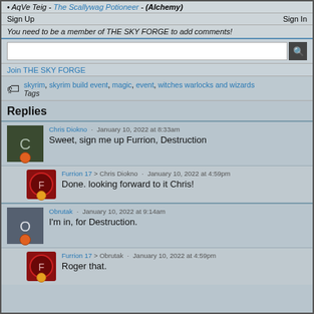AqVe Teig - The Scallywag Potioneer - (Alchemy)
Sign Up   Sign In
You need to be a member of THE SKY FORGE to add comments!
Join THE SKY FORGE
Tags: skyrim, skyrim build event, magic, event, witches warlocks and wizards
Replies
Chris Diokno · January 10, 2022 at 8:33am
Sweet, sign me up Furrion, Destruction
Furrion 17 > Chris Diokno · January 10, 2022 at 4:59pm
Done. looking forward to it Chris!
Obrutak · January 10, 2022 at 9:14am
I'm in, for Destruction.
Furrion 17 > Obrutak · January 10, 2022 at 4:59pm
Roger that.